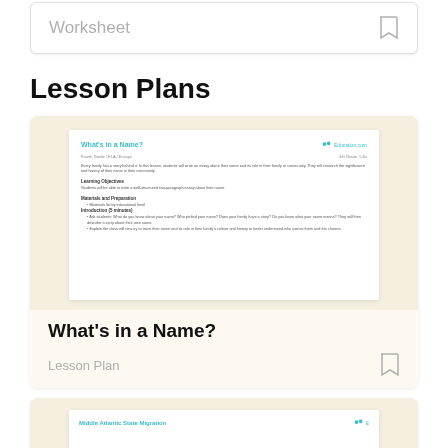Worksheet
Lesson Plans
[Figure (screenshot): Preview of a lesson plan document titled 'What's in a Name?' with Education.com logo, showing sections for Learning Objectives, Materials and Preparation, and Introduction.]
What's in a Name?
Lesson Plan
[Figure (screenshot): Preview of a second lesson plan document titled 'Middle Atlantic State Migration' with Education.com logo, partially visible at the bottom of the page.]